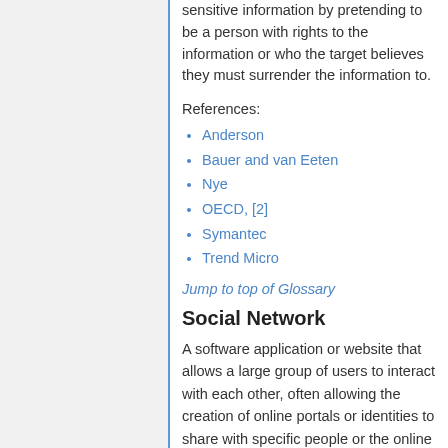sensitive information by pretending to be a person with rights to the information or who the target believes they must surrender the information to.
References:
Anderson
Bauer and van Eeten
Nye
OECD, [2]
Symantec
Trend Micro
Jump to top of Glossary
Social Network
A software application or website that allows a large group of users to interact with each other, often allowing the creation of online portals or identities to share with specific people or the online